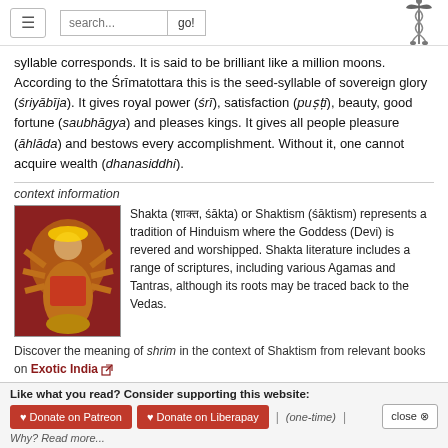search... go!
syllable corresponds. It is said to be brilliant like a million moons. According to the Śrīmatottara this is the seed-syllable of sovereign glory (śriyābīja). It gives royal power (śrī), satisfaction (puṣṭi), beauty, good fortune (saubhāgya) and pleases kings. It gives all people pleasure (āhlāda) and bestows every accomplishment. Without it, one cannot acquire wealth (dhanasiddhi).
context information
[Figure (photo): Painting of Hindu goddess Durga seated on a lion with multiple arms]
Shakta (शाक्त, śākta) or Shaktism (śāktism) represents a tradition of Hinduism where the Goddess (Devi) is revered and worshipped. Shakta literature includes a range of scriptures, including various Agamas and Tantras, although its roots may be traced back to the Vedas.
Discover the meaning of shrim in the context of Shaktism from relevant books on Exotic India
See also (Relevant definitions)
Like what you read? Consider supporting this website:
Donate on Patreon  Donate on Liberapay  | (one-time) |  close
Why? Read more...